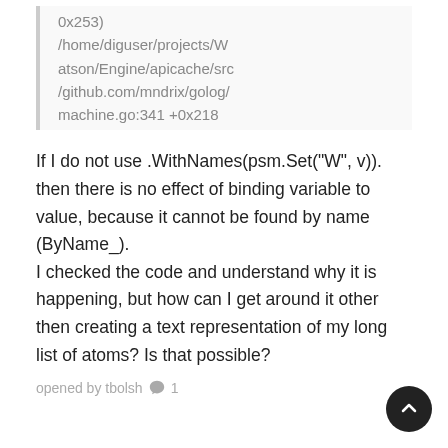0x253)
/home/diguser/projects/Watson/Engine/apicache/src
/github.com/mndrix/golog/machine.go:341 +0x218
If I do not use .WithNames(psm.Set("W", v)). then there is no effect of binding variable to value, because it cannot be found by name (ByName_).
I checked the code and understand why it is happening, but how can I get around it other then creating a text representation of my long list of atoms? Is that possible?
opened by tbolsh 💬 1